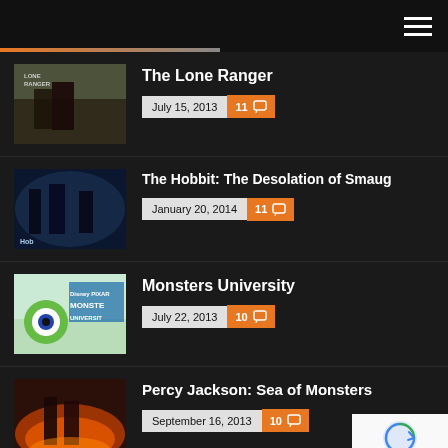Navigation menu header with hamburger icon and orange progress bar
The Lone Ranger — July 15, 2013 — 11 comments
The Hobbit: The Desolation of Smaug — January 20, 2014 — 11 comments
Monsters University — July 22, 2013 — 10 comments
Percy Jackson: Sea of Monsters — September 16, 2013 — 10 comments